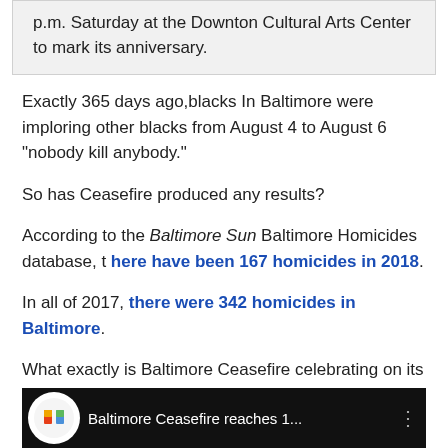p.m. Saturday at the Downton Cultural Arts Center to mark its anniversary.
Exactly 365 days ago,blacks In Baltimore were imploring other blacks from August 4 to August 6 “nobody kill anybody.”
So has Ceasefire produced any results?
According to the Baltimore Sun Baltimore Homicides database, t here have been 167 homicides in 2018.
In all of 2017, there were 342 homicides in Baltimore.
What exactly is Baltimore Ceasefire celebrating on its one-year anniversary?
[Figure (screenshot): Video thumbnail with dark background showing NBC logo and text: Baltimore Ceasefire reaches 1...]